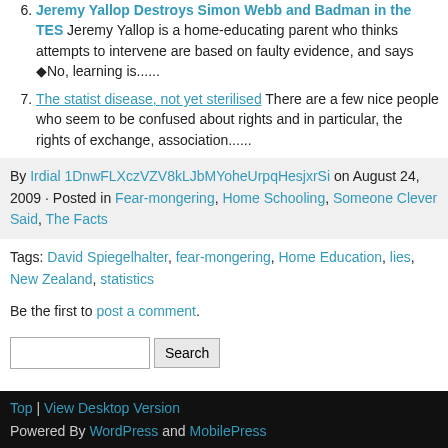6. Jeremy Yallop Destroys Simon Webb and Badman in the TES Jeremy Yallop is a home-educating parent who thinks attempts to intervene are based on faulty evidence, and says �No, learning is......
7. The statist disease, not yet sterilised There are a few nice people who seem to be confused about rights and in particular, the rights of exchange, association......
By Irdial 1DnwFLXczVZV8kLJbMYoheUrpqHesjxrSi on August 24, 2009 · Posted in Fear-mongering, Home Schooling, Someone Clever Said, The Facts
Tags: David Spiegelhalter, fear-mongering, Home Education, lies, New Zealand, statistics
Be the first to post a comment.
Search
Top | View Desktop Version
Powered By WordPress and MobilePress